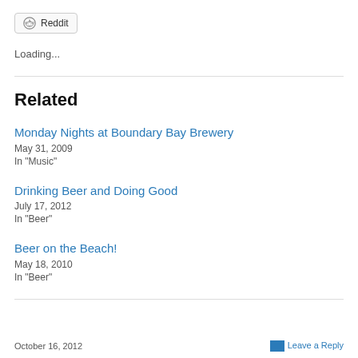[Figure (other): Reddit share button with Reddit alien icon and text 'Reddit']
Loading...
Related
Monday Nights at Boundary Bay Brewery
May 31, 2009
In "Music"
Drinking Beer and Doing Good
July 17, 2012
In "Beer"
Beer on the Beach!
May 18, 2010
In "Beer"
October 16, 2012 ... Leave a Reply